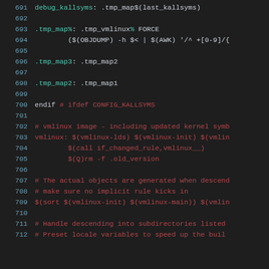[Figure (screenshot): Source code listing showing Makefile lines 691-712 with syntax highlighting. Line numbers in blue-gray, code in various colors: targets in green/teal, recipe lines and comments in red/dark-red, regular text in light gray. Background is dark (#1e1e1e).]